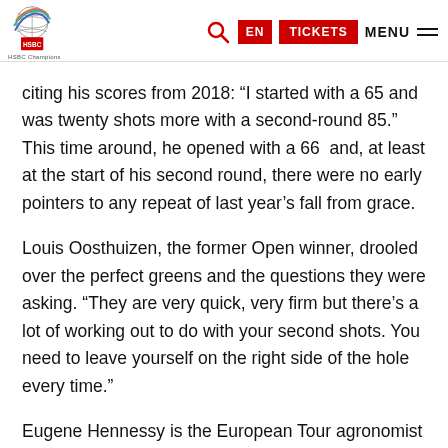WGC HSBC Champions navigation header with logo, search, EN, TICKETS, MENU
citing his scores from 2018: “I started with a 65 and was twenty shots more with a second-round 85.” This time around, he opened with a 66  and, at least at the start of his second round, there were no early pointers to any repeat of last year’s fall from grace.
Louis Oosthuizen, the former Open winner, drooled over the perfect greens and the questions they were asking. “They are very quick, very firm but there’s a lot of working out to do with your second shots. You need to leave yourself on the right side of the hole every time.”
Eugene Hennessy is the European Tour agronomist to have overseen the preparation of the venue. He paid the first of three